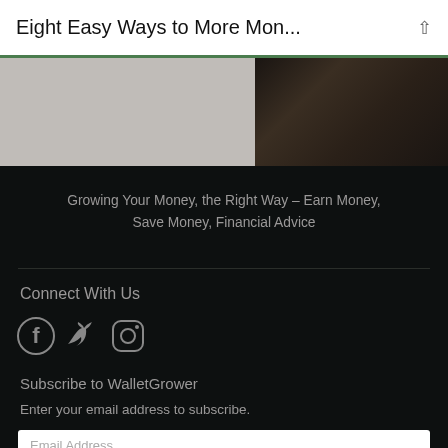Eight Easy Ways to More Mon...
[Figure (photo): Photo of hands with watch on dark background]
Growing Your Money, the Right Way – Earn Money, Save Money, Financial Advice
Connect With Us
[Figure (infographic): Social media icons: Facebook, Twitter, Instagram]
Subscribe to WalletGrower
Enter your email address to subscribe.
Email Address